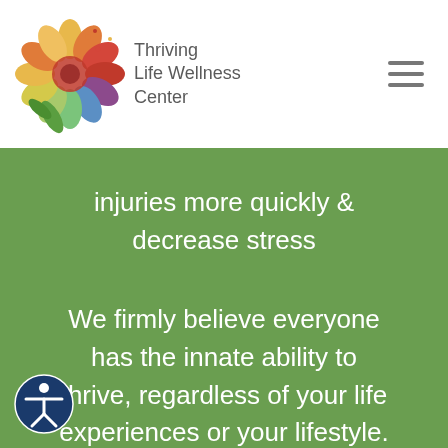[Figure (logo): Thriving Life Wellness Center logo with colorful flower mandala and text]
injuries more quickly & decrease stress
We firmly believe everyone has the innate ability to thrive, regardless of your life experiences or your lifestyle.
[Figure (illustration): Accessibility icon button in dark blue circle at bottom left]